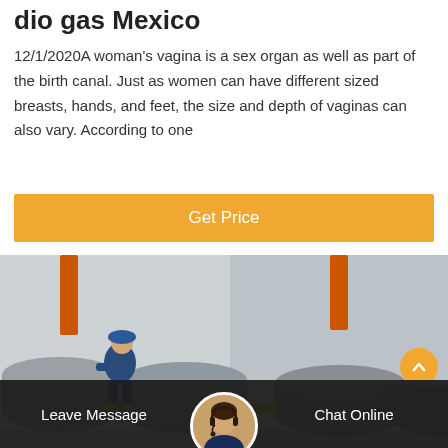dio gas Mexico
12/1/2020A woman's vagina is a sex organ as well as part of the birth canal. Just as women can have different sized breasts, hands, and feet, the size and depth of vaginas can also vary. According to one
[Figure (other): Orange button with white text reading 'Get Price']
[Figure (photo): Industrial scene showing a worker in blue coveralls and blue hard hat sitting on large gray industrial tanks/equipment with orange and yellow pipes and fittings, in an industrial facility with white walls]
Leave Message   Chat Online